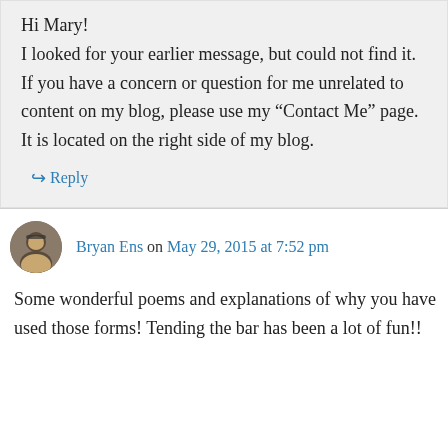Hi Mary!
I looked for your earlier message, but could not find it. If you have a concern or question for me unrelated to content on my blog, please use my “Contact Me” page. It is located on the right side of my blog.
↪ Reply
Bryan Ens on May 29, 2015 at 7:52 pm
Some wonderful poems and explanations of why you have used those forms! Tending the bar has been a lot of fun!!